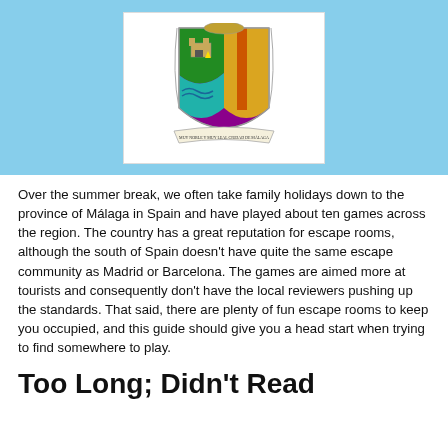[Figure (logo): Coat of arms / crest of Málaga province on a light blue banner background, displayed inside a white rectangular box]
Over the summer break, we often take family holidays down to the province of Málaga in Spain and have played about ten games across the region. The country has a great reputation for escape rooms, although the south of Spain doesn't have quite the same escape community as Madrid or Barcelona. The games are aimed more at tourists and consequently don't have the local reviewers pushing up the standards. That said, there are plenty of fun escape rooms to keep you occupied, and this guide should give you a head start when trying to find somewhere to play.
Too Long; Didn't Read